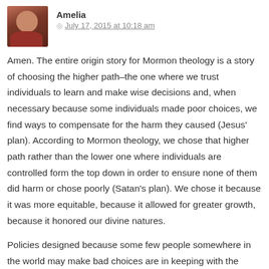[Figure (photo): Avatar photo of commenter Amelia — a woman with dark hair]
Amelia  ◎  July 17, 2015 at 10:18 am
Amen. The entire origin story for Mormon theology is a story of choosing the higher path–the one where we trust individuals to learn and make wise decisions and, when necessary because some individuals made poor choices, we find ways to compensate for the harm they caused (Jesus' plan). According to Mormon theology, we chose that higher path rather than the lower one where individuals are controlled form the top down in order to ensure none of them did harm or chose poorly (Satan's plan). We chose it because it was more equitable, because it allowed for greater growth, because it honored our divine natures.
Policies designed because some few people somewhere in the world may make bad choices are in keeping with the lesser good–the goal of controlling people in order to ensure they don't screw up–rather than the higher good–the goal of allowing people the freedom and autonomy